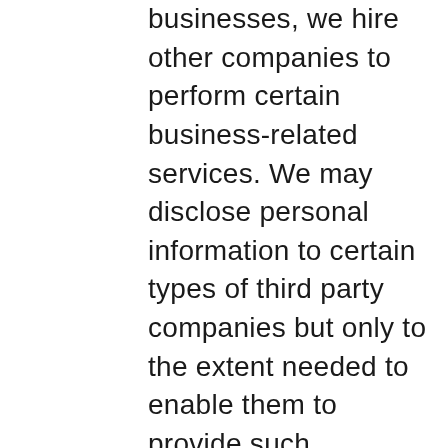businesses, we hire other companies to perform certain business-related services. We may disclose personal information to certain types of third party companies but only to the extent needed to enable them to provide such services. The types of companies that may receive personal information and their functions are: hosting providers, information security providers, business management services providers, marketing assistance (including CRMs), and SMS messaging providers. Where such third parties function as our agents, they perform services at our instruction and on our behalf pursuant to contracts